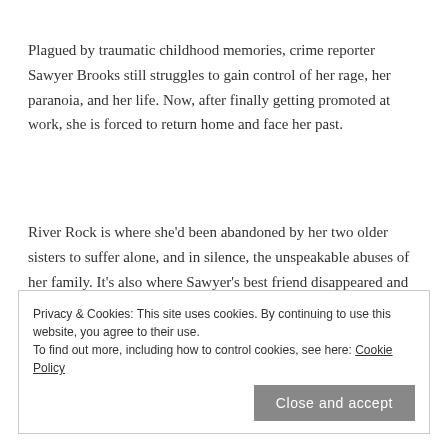Plagued by traumatic childhood memories, crime reporter Sawyer Brooks still struggles to gain control of her rage, her paranoia, and her life. Now, after finally getting promoted at work, she is forced to return home and face her past.
River Rock is where she'd been abandoned by her two older sisters to suffer alone, and in silence, the unspeakable abuses of her family. It's also where Sawyer's best friend disappeared and two teenage girls were murdered. Three cold cases dead and
Privacy & Cookies: This site uses cookies. By continuing to use this website, you agree to their use. To find out more, including how to control cookies, see here: Cookie Policy
Close and accept